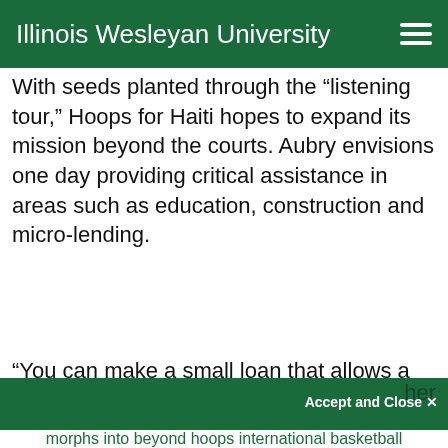Illinois Wesleyan University
With seeds planted through the “listening tour,” Hoops for Haiti hopes to expand its mission beyond the courts. Aubry envisions one day providing critical assistance in areas such as education, construction and micro-lending.
“You can make a small loan that allows a mother to [provide for] her [family]...
We use cookies to improve your experience on our website. By continuing to use our site,
Accept and Close ×
Your browser settings do not allow cross-site tracking for advertising. Click on this page to allow AdRoll to use cross-site tracking to tailor ads to you. Learn more or opt out of this AdRoll tracking by clicking here. This message only appears once.
morphs into beyond hoops international basketball